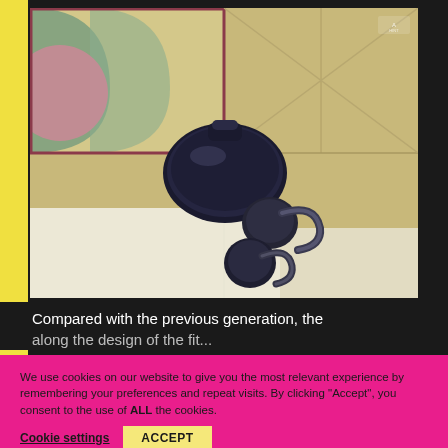[Figure (photo): Black wireless earbuds and their charging case with ear hooks, placed on decorative tiles with geometric pattern in green, pink, and burgundy colors]
Compared with the previous generation, the along the design of the fit...
We use cookies on our website to give you the most relevant experience by remembering your preferences and repeat visits. By clicking “Accept”, you consent to the use of ALL the cookies.
Cookie settings   ACCEPT